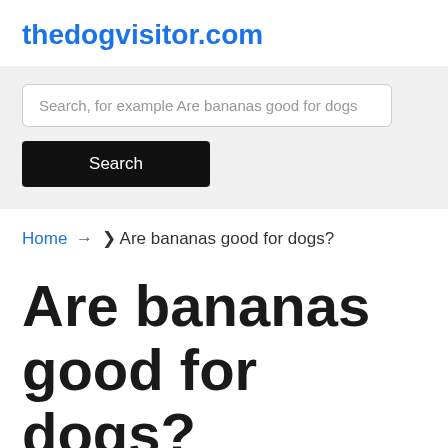thedogvisitor.com
[Figure (screenshot): Search box with placeholder text 'Search, for example Are bananas good for dogs' and a black Search button below]
Home → ❯ Are bananas good for dogs?
Are bananas good for dogs?